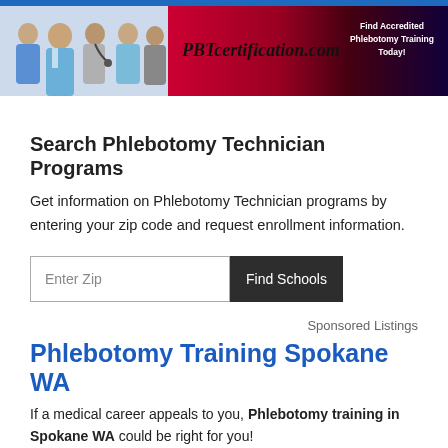[Figure (photo): Banner with medical professionals photo on left, PBTcertification.com logo and tagline on gradient red-to-dark background on right]
Search Phlebotomy Technician Programs
Get information on Phlebotomy Technician programs by entering your zip code and request enrollment information.
Enter Zip  Find Schools
Sponsored Listings
Phlebotomy Training Spokane WA
If a medical career appeals to you, Phlebotomy training in Spokane WA could be right for you!